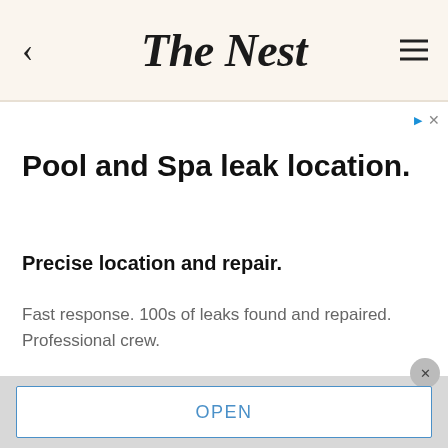The Nest
[Figure (screenshot): Advertisement for summitpools.org pool and spa leak location service]
Pool and Spa leak location.
Precise location and repair.
Fast response. 100s of leaks found and repaired. Professional crew.
summitpools.org